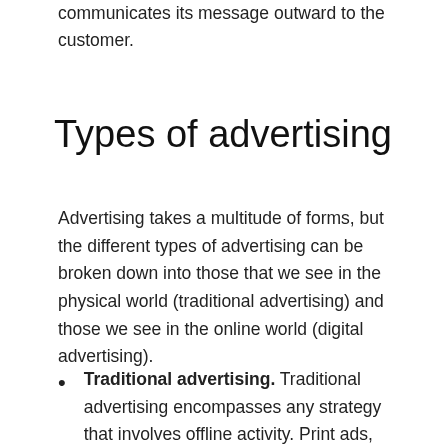communicates its message outward to the customer.
Types of advertising
Advertising takes a multitude of forms, but the different types of advertising can be broken down into those that we see in the physical world (traditional advertising) and those we see in the online world (digital advertising).
Traditional advertising. Traditional advertising encompasses any strategy that involves offline activity. Print ads, such as